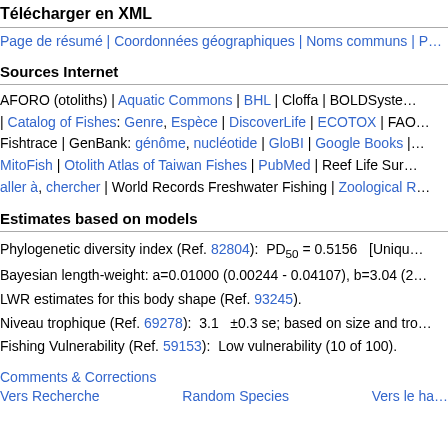Télécharger en XML
Page de résumé | Coordonnées géographiques | Noms communs | P…
Sources Internet
AFORO (otoliths) | Aquatic Commons | BHL | Cloffa | BOLDSyste… | Catalog of Fishes: Genre, Espèce | DiscoverLife | ECOTOX | FAO… Fishtrace | GenBank: génôme, nucléotide | GloBI | Google Books |… MitoFish | Otolith Atlas of Taiwan Fishes | PubMed | Reef Life Sur… aller à, chercher | World Records Freshwater Fishing | Zoological R…
Estimates based on models
Phylogenetic diversity index (Ref. 82804):  PD50 = 0.5156   [Unique…
Bayesian length-weight: a=0.01000 (0.00244 - 0.04107), b=3.04 (2… LWR estimates for this body shape (Ref. 93245).
Niveau trophique (Ref. 69278):  3.1   ±0.3 se; based on size and tro…
Fishing Vulnerability (Ref. 59153):  Low vulnerability (10 of 100).
Comments & Corrections
Vers Recherche    Random Species    Vers le ha…